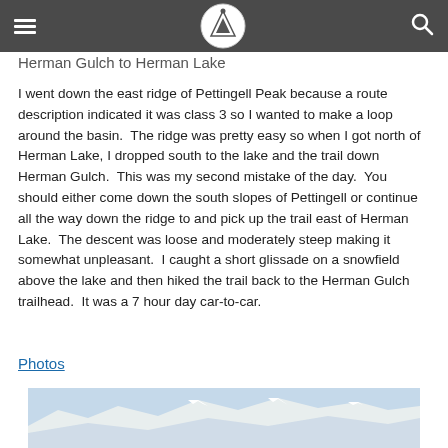Navigation bar with hamburger menu, logo, and search icon
Herman Gulch to Herman Lake
I went down the east ridge of Pettingell Peak because a route description indicated it was class 3 so I wanted to make a loop around the basin.  The ridge was pretty easy so when I got north of Herman Lake, I dropped south to the lake and the trail down Herman Gulch.  This was my second mistake of the day.  You should either come down the south slopes of Pettingell or continue all the way down the ridge to and pick up the trail east of Herman Lake.  The descent was loose and moderately steep making it somewhat unpleasant.  I caught a short glissade on a snowfield above the lake and then hiked the trail back to the Herman Gulch trailhead.  It was a 7 hour day car-to-car.
Photos
[Figure (photo): Mountain landscape with snow-covered peaks and blue sky]